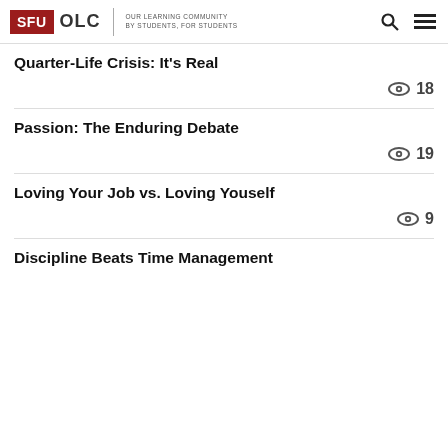SFU OLC | OUR LEARNING COMMUNITY BY STUDENTS, FOR STUDENTS
Quarter-Life Crisis: It's Real
18 views
Passion: The Enduring Debate
19 views
Loving Your Job vs. Loving Youself
9 views
Discipline Beats Time Management